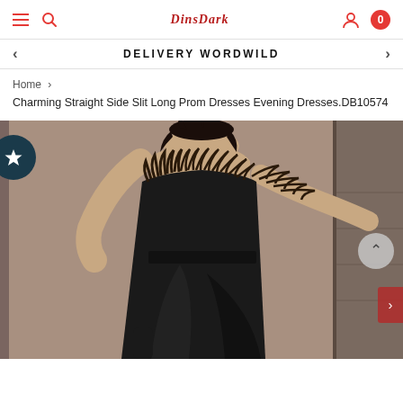DinsDark — Navigation bar with hamburger menu, search, logo, user icon, and cart (0)
DELIVERY WORDWILD
Home > Charming Straight Side Slit Long Prom Dresses Evening Dresses.DB10574
[Figure (photo): Model wearing a black strapless prom dress with feather trim at the bust and a side slit, against a beige/grey background. A dark teal circle with a white star (favorite button) is overlaid at the left edge. A grey scroll-up chevron button and a red next-arrow chevron appear on the right side of the image.]